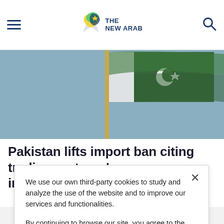The New Arab — navigation header with hamburger menu and search icon
[Figure (photo): Pakistan flag waving against a grey-blue sky, viewed from below]
Pakistan lifts import ban citing trading partners' concerns, impact on supply
We use our own third-party cookies to study and analyze the use of the website and to improve our services and functionalities.

By continuing to browse our site, you agree to the use of cookies and our Privacy Policy.
Accept